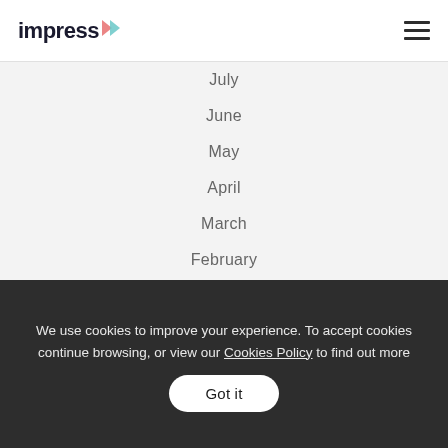impress
July
June
May
April
March
February
January
2021 ▶
We use cookies to improve your experience. To accept cookies continue browsing, or view our Cookies Policy to find out more   Got it